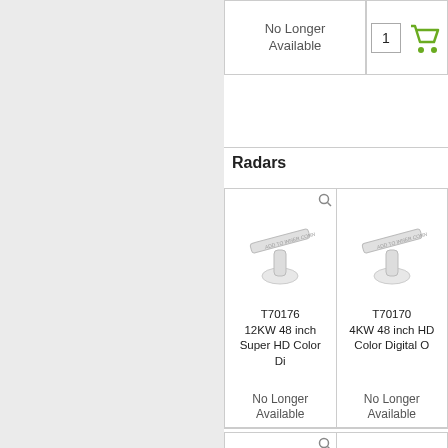No Longer Available
Radars
[Figure (photo): T70176 12KW 48 inch Super HD Color Di radar product image]
T70176
12KW 48 inch Super HD Color Di
No Longer Available
[Figure (photo): T70170 4KW 48 inch HD Color Digital O radar product image]
T70170
4KW 48 inch HD Color Digital O
No Longer Available
[Figure (photo): T70166 4KW 18 inch Digital Radome w/R radar product image]
T70166
4KW 18 inch Digital Radome w/R
No Longer Available
[Figure (photo): T70167 4KW 24 inch Digital Radome w/R radar product image]
T70167
4KW 24 inch Digital Radome w/R
No Longer